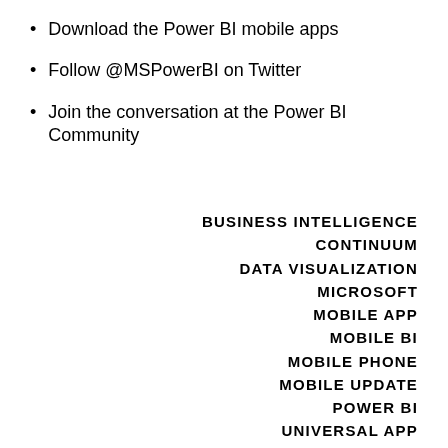Download the Power BI mobile apps
Follow @MSPowerBI on Twitter
Join the conversation at the Power BI Community
BUSINESS INTELLIGENCE
CONTINUUM
DATA VISUALIZATION
MICROSOFT
MOBILE APP
MOBILE BI
MOBILE PHONE
MOBILE UPDATE
POWER BI
UNIVERSAL APP